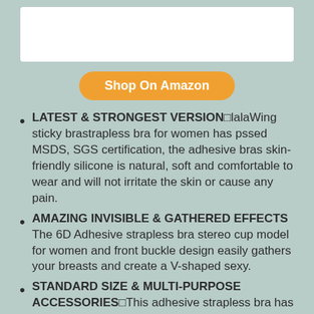[Figure (other): White rectangular image placeholder at top of page]
Shop On Amazon
LATEST & STRONGEST VERSION■lalaWing sticky brastrapless bra for women has pssed MSDS, SGS certification, the adhesive bras skin-friendly silicone is natural, soft and comfortable to wear and will not irritate the skin or cause any pain.
AMAZING INVISIBLE & GATHERED EFFECTS The 6D Adhesive strapless bra stereo cup model for women and front buckle design easily gathers your breasts and create a V-shaped sexy.
STANDARD SIZE & MULTI-PURPOSE ACCESSORIES■This adhesive strapless bra has 7 US standard sizes of A, B, C, D, DD, E, F and comes with 5 sets of accessories to meet your